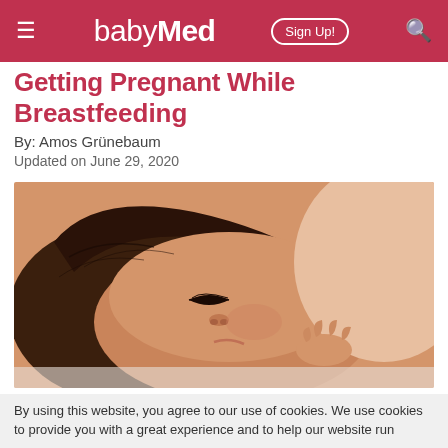babyMed — Sign Up!
Getting Pregnant While Breastfeeding
By: Amos Grünebaum
Updated on June 29, 2020
[Figure (photo): Close-up photo of a newborn baby breastfeeding, eyes closed, with tiny hand visible near mother's breast]
Can I get pregnant when breastfeeding? Is it a good contraceptive? I just gave birth a few months
By using this website, you agree to our use of cookies. We use cookies to provide you with a great experience and to help our website run